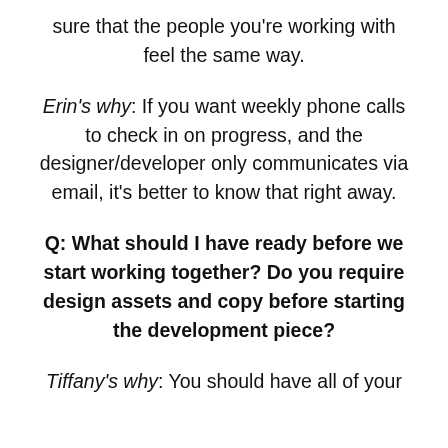sure that the people you're working with feel the same way.
Erin's why: If you want weekly phone calls to check in on progress, and the designer/developer only communicates via email, it's better to know that right away.
Q: What should I have ready before we start working together? Do you require design assets and copy before starting the development piece?
Tiffany's why: You should have all of your